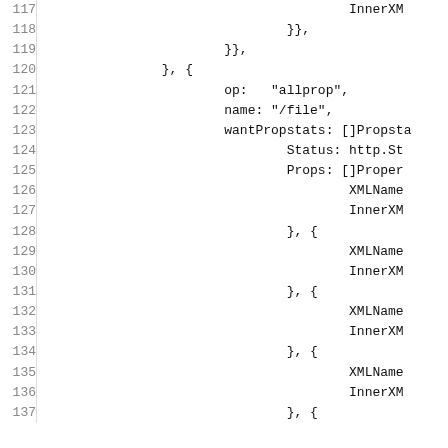Code listing lines 117-137 showing Go/JSON-like struct literal with WebDAV PROPFIND request data including op, name, wantPropstats fields with XMLName and InnerXML entries